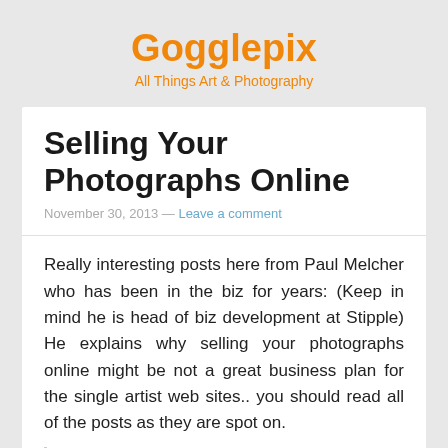Gogglepix
All Things Art & Photography
Selling Your Photographs Online
November 30, 2013 — Leave a comment
Really interesting posts here from Paul Melcher who has been in the biz for years: (Keep in mind he is head of biz development at Stipple) He explains why selling your photographs online might be not a great business plan for the single artist web sites.. you should read all of the posts as they are spot on.
“Publications are no longer the place where